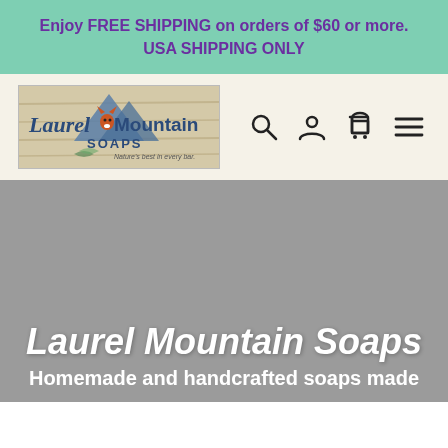Enjoy FREE SHIPPING on orders of $60 or more. USA SHIPPING ONLY
[Figure (logo): Laurel Mountain Soaps logo with fox and mountain illustration, tagline: Nature's best in every bar.]
Laurel Mountain Soaps
Homemade and handcrafted soaps made